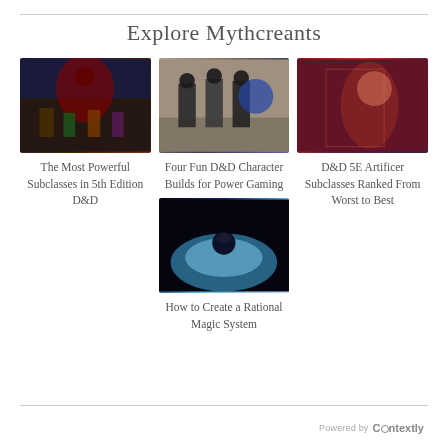Explore Mythcreants
[Figure (photo): Animated characters group scene with villain and heroes]
The Most Powerful Subclasses in 5th Edition D&D
[Figure (photo): LEGO minifigures representing D&D characters with dice]
Four Fun D&D Character Builds for Power Gaming
[Figure (photo): Fantasy art of a woman in red magical setting]
D&D 5E Artificer Subclasses Ranked From Worst to Best
[Figure (photo): Animated character with blue fire magic, dark background]
How to Create a Rational Magic System
Powered by Contextly